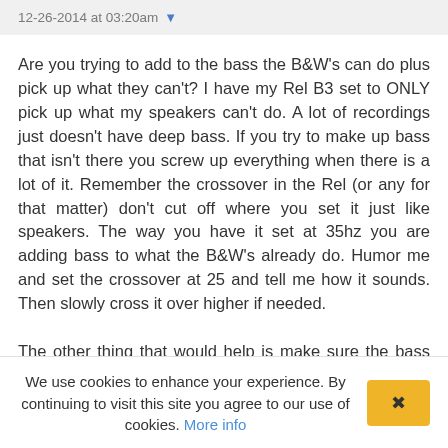12-26-2014 at 03:20am ▾
Are you trying to add to the bass the B&W's can do plus pick up what they can't? I have my Rel B3 set to ONLY pick up what my speakers can't do. A lot of recordings just doesn't have deep bass. If you try to make up bass that isn't there you screw up everything when there is a lot of it. Remember the crossover in the Rel (or any for that matter) don't cut off where you set it just like speakers. The way you have it set at 35hz you are adding bass to what the B&W's already do. Humor me and set the crossover at 25 and tell me how it sounds. Then slowly cross it over higher if needed.

The other thing that would help is make sure the bass from
We use cookies to enhance your experience. By continuing to visit this site you agree to our use of cookies. More info